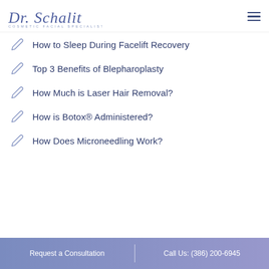Dr. Schalit — COSMETIC FACIAL SPECIALIST
How to Sleep During Facelift Recovery
Top 3 Benefits of Blepharoplasty
How Much is Laser Hair Removal?
How is Botox® Administered?
How Does Microneedling Work?
Request a Consultation | Call Us: (386) 200-6945